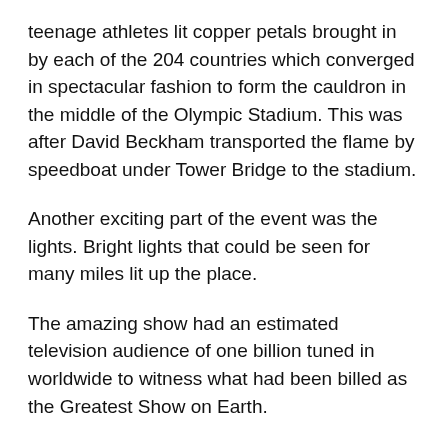teenage athletes lit copper petals brought in by each of the 204 countries which converged in spectacular fashion to form the cauldron in the middle of the Olympic Stadium. This was after David Beckham transported the flame by speedboat under Tower Bridge to the stadium.
Another exciting part of the event was the lights. Bright lights that could be seen for many miles lit up the place.
The amazing show had an estimated television audience of one billion tuned in worldwide to witness what had been billed as the Greatest Show on Earth.
Here’s wishing Team Nigeria the very best at the London 2012 Olympic Games!